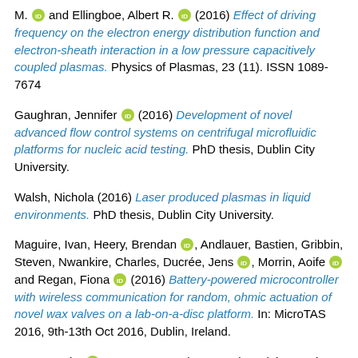M. [orcid] and Ellingboe, Albert R. [orcid] (2016) Effect of driving frequency on the electron energy distribution function and electron-sheath interaction in a low pressure capacitively coupled plasmas. Physics of Plasmas, 23 (11). ISSN 1089-7674
Gaughran, Jennifer [orcid] (2016) Development of novel advanced flow control systems on centrifugal microfluidic platforms for nucleic acid testing. PhD thesis, Dublin City University.
Walsh, Nichola (2016) Laser produced plasmas in liquid environments. PhD thesis, Dublin City University.
Maguire, Ivan, Heery, Brendan [orcid], Andlauer, Bastien, Gribbin, Steven, Nwankire, Charles, Ducrée, Jens [orcid], Morrin, Aoife [orcid] and Regan, Fiona [orcid] (2016) Battery-powered microcontroller with wireless communication for random, ohmic actuation of novel wax valves on a lab-on-a-disc platform. In: MicroTAS 2016, 9th-13th Oct 2016, Dublin, Ireland.
Conway, Jim [orcid], Gogna, Guru Sharan and Daniels, Stephen (2016) Two-photon absorption laser-induced fluorescence measurement of atomic Oxygen density in an atmospheric pressure air plasma jet. In: 69th Annual Gaseous Electronics conference, 10 Oct - 14 Oct 2016, Ruhr University Bocham, Germany.
Torres-Delgado, Sarai, Kinahan, David J. [orcid], Kilcawley, Niamh ...